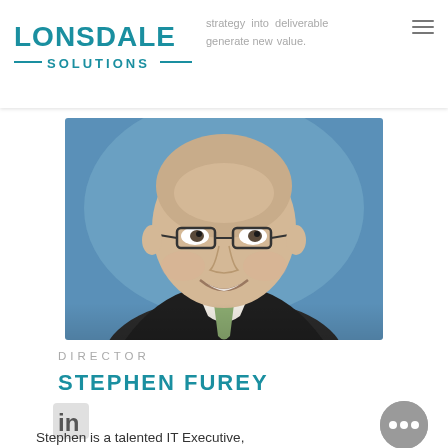[Figure (logo): Lonsdale Solutions company logo with teal text]
strategy into deliverable
generate new value.
[Figure (photo): Professional headshot of Stephen Furey, a middle-aged man with glasses wearing a dark pinstripe suit and green tie, against a blue background]
DIRECTOR
STEPHEN FUREY
[Figure (logo): LinkedIn 'in' icon]
Stephen is a talented IT Executive,